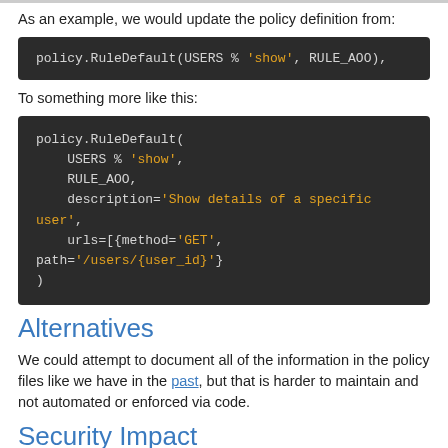As an example, we would update the policy definition from:
[Figure (screenshot): Code block showing: policy.RuleDefault(USERS % 'show', RULE_AOO),]
To something more like this:
[Figure (screenshot): Code block showing: policy.RuleDefault(
    USERS % 'show',
    RULE_AOO,
    description='Show details of a specific user',
    urls=[{method='GET', path='/users/{user_id}'}
)]
Alternatives
We could attempt to document all of the information in the policy files like we have in the past, but that is harder to maintain and not automated or enforced via code.
Security Impact